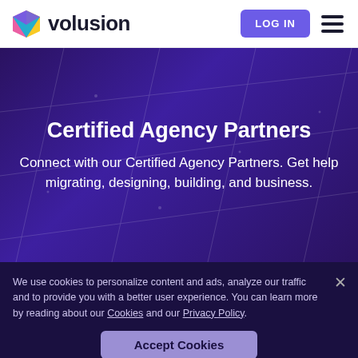[Figure (logo): Volusion logo with colorful diamond/triangle icon and 'volusion' wordmark in dark navy]
LOG IN
Certified Agency Partners
Connect with our Certified Agency Partners. Get help migrating, designing, building, and business.
We use cookies to personalize content and ads, analyze our traffic and to provide you with a better user experience. You can learn more by reading about our Cookies and our Privacy Policy.
Accept Cookies